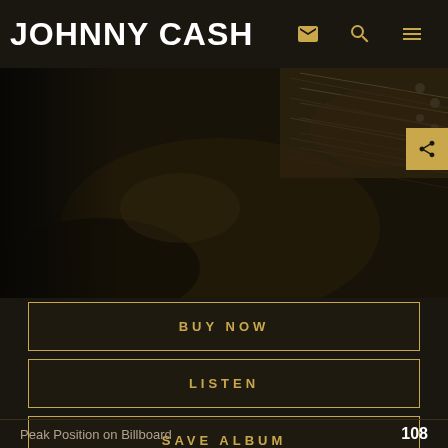JOHNNY CASH
[Figure (photo): Black and white sepia-toned photo of Johnny Cash playing guitar, close-up of hands on guitar neck and strings]
BUY NOW
LISTEN
SAVE ALBUM
Peak Position on Billboard  108